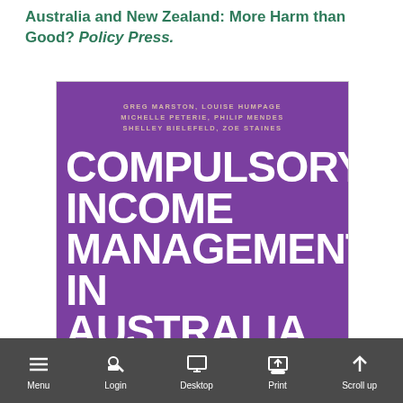Australia and New Zealand: More Harm than Good? Policy Press.
[Figure (illustration): Book cover of 'Compulsory Income Management in Australia and New Zealand' by Greg Marston, Louise Humpage, Michelle Peterie, Philip Mendes, Shelley Bielefeld, Zoe Staines. Purple background with large white title text and author names in a tan/gold color at the top.]